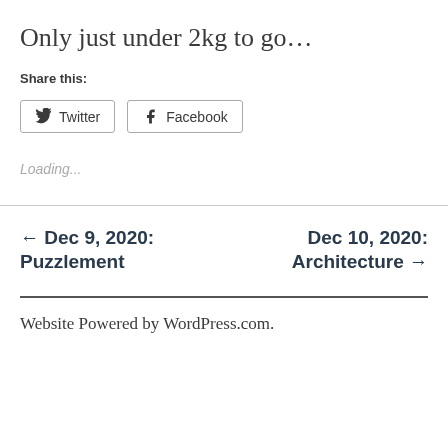Only just under 2kg to go…
Share this:
Twitter  Facebook
Loading...
← Dec 9, 2020: Puzzlement
Dec 10, 2020: Architecture →
Website Powered by WordPress.com.